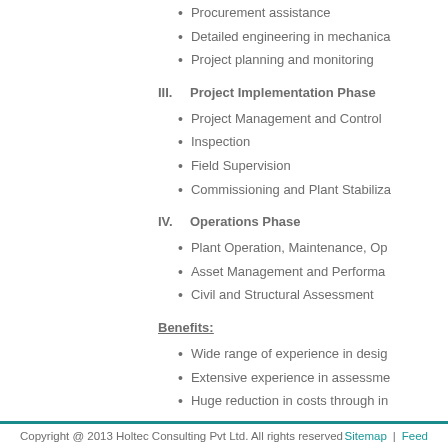Procurement assistance
Detailed engineering in mechanical
Project planning and monitoring
III. Project Implementation Phase
Project Management and Control
Inspection
Field Supervision
Commissioning and Plant Stabiliza
IV. Operations Phase
Plant Operation, Maintenance, Op
Asset Management and Performa
Civil and Structural Assessment
Benefits:
Wide range of experience in desig
Extensive experience in assessme
Huge reduction in costs through in
Copyright @ 2013 Holtec Consulting Pvt Ltd. All rights reserved   Sitemap  |  Feed